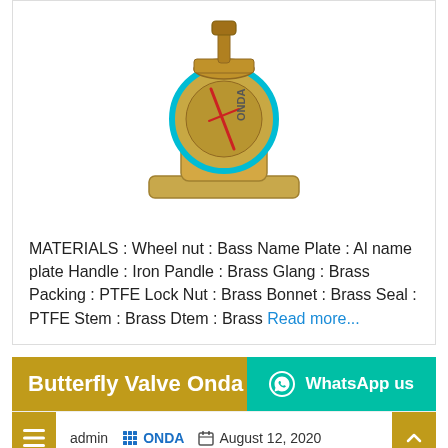[Figure (photo): Photo of a brass/golden flanged ball valve with teal/cyan accent ring and red markings, ONDA brand, viewed from the front]
MATERIALS : Wheel nut : Bass Name Plate : Al name plate Handle : Iron Pandle : Brass Glang : Brass Packing : PTFE Lock Nut : Brass Bonnet : Brass Seal : PTFE Stem : Brass Dtem : Brass Read more...
Butterfly Valve Onda Cast Iron 2 Inch
admin  ONDA  August 12, 2020